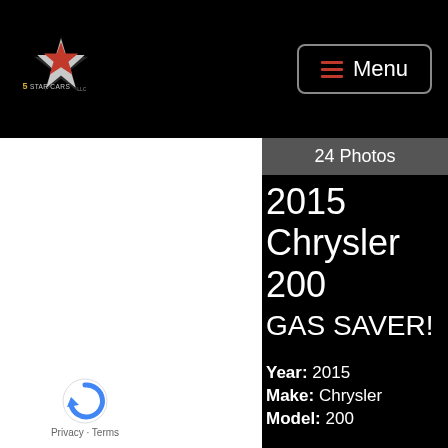5 Star Cars — Menu
24 Photos
2015 Chrysler 200 GAS SAVER! ~ PREFERRED PACKAGE! ~ SUPER NICE!
Year: 2015
Make: Chrysler
Model: 200
[Figure (logo): reCAPTCHA widget with blue circular arrow logo and Privacy - Terms links]